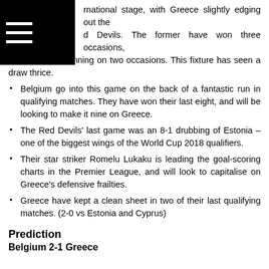rnational stage, with Greece slightly edging out the d Devils. The former have won three occasions, with the latter winning on two occasions. This fixture has seen a draw thrice.
Belgium go into this game on the back of a fantastic run in qualifying matches. They have won their last eight, and will be looking to make it nine on Greece.
The Red Devils' last game was an 8-1 drubbing of Estonia – one of the biggest wings of the World Cup 2018 qualifiers.
Their star striker Romelu Lukaku is leading the goal-scoring charts in the Premier League, and will look to capitalise on Greece's defensive frailties.
Greece have kept a clean sheet in two of their last qualifying matches. (2-0 vs Estonia and Cyprus)
Prediction
Belgium 2-1 Greece